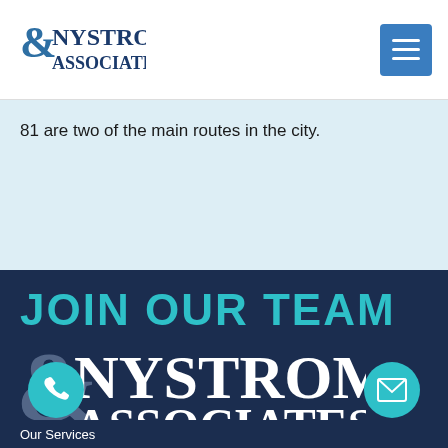[Figure (logo): Nystrom & Associates logo in blue text with ampersand symbol]
[Figure (logo): Blue hamburger menu icon button]
81 are two of the main routes in the city.
JOIN OUR TEAM
[Figure (logo): Nystrom & Associates white logo on dark navy background]
Our Services